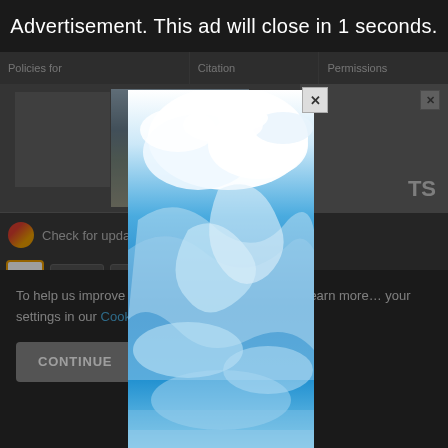Advertisement. This ad will close in 1 seconds.
[Figure (screenshot): Background webpage showing table headers (Policies for, Citation, Permissions), a mountain photo thumbnail, a TS content box, Check for updates link, Am/Share widget with count 3, Downloads count 55, Add to Cart ($3...) button, SHARE section with social icons (email, facebook, twitter, linkedin)]
[Figure (photo): Advertisement popup showing a sky photo with blue sky and white swirling clouds]
To help us improve y… his website uses cookies. Learn more… your settings in our Cookie Policy. You ca…
CONTINUE
FIN…